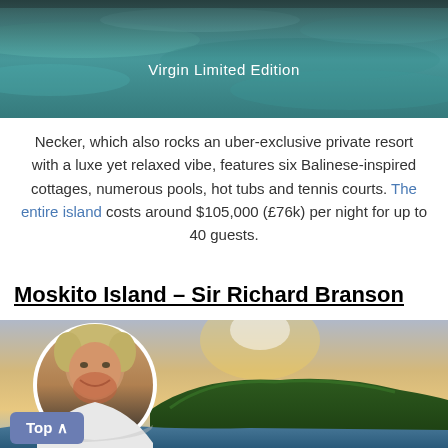[Figure (photo): Aerial/underwater photo of Necker Island with text overlay 'Virgin Limited Edition']
Necker, which also rocks an uber-exclusive private resort with a luxe yet relaxed vibe, features six Balinese-inspired cottages, numerous pools, hot tubs and tennis courts. The entire island costs around $105,000 (£76k) per night for up to 40 guests.
Moskito Island – Sir Richard Branson
[Figure (photo): Composite photo: circular headshot of Sir Richard Branson overlaid on aerial view of Moskito Island with sunset sky]
Top ∧